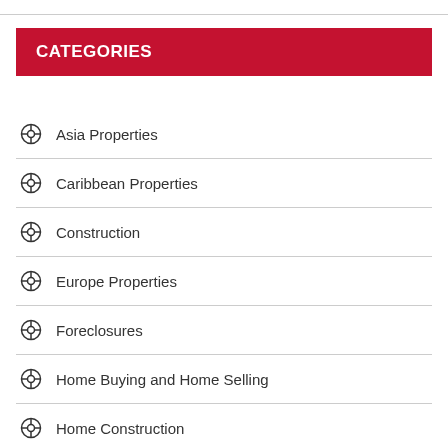CATEGORIES
Asia Properties
Caribbean Properties
Construction
Europe Properties
Foreclosures
Home Buying and Home Selling
Home Construction